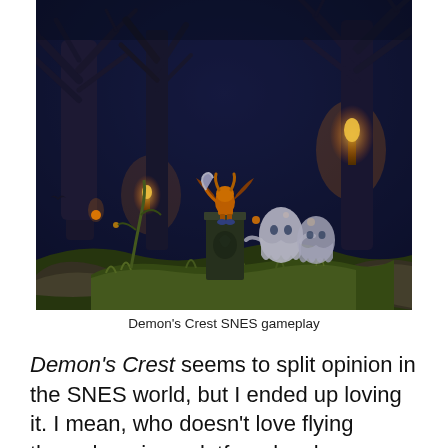[Figure (photo): Screenshot of Demon's Crest SNES gameplay showing a dark nighttime forest scene with bare trees. A demon character stands on a decorated pillar in the center, ghost-like enemies are to the right, torches glow in the background, and green mossy ground fills the bottom.]
Demon's Crest SNES gameplay
Demon's Crest seems to split opinion in the SNES world, but I ended up loving it. I mean, who doesn't love flying through various platform levels as a demon, demolishing a multitude of enemies with an upgradable